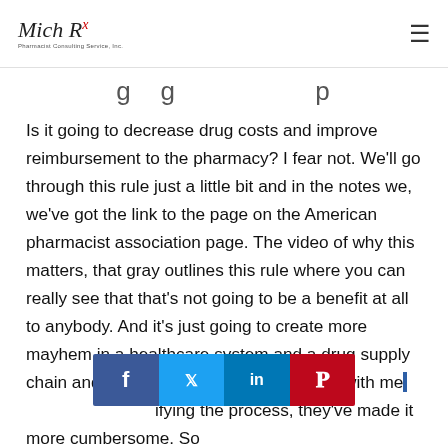Mich Rx — Pharmacist Consulting Service, Inc.
…g g … p
Is it going to decrease drug costs and improve reimbursement to the pharmacy? I fear not. We'll go through this rule just a little bit and in the notes we, we've got the link to the page on the American pharmacist association page. The video of why this matters, that gray outlines this rule where you can really see that that's not going to be a benefit at all to anybody. And it's just going to create more mayhem in a healthcare system and a drug supply chain and a pharmacy system that is rote with me…ifying the process, they've made it more cumbersome. So
[Figure (other): Social sharing bar with Facebook, Twitter, LinkedIn, and Pinterest buttons]